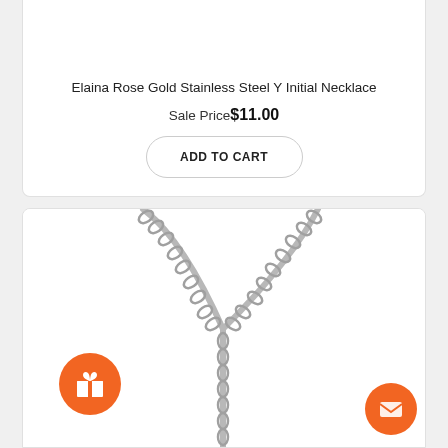Elaina Rose Gold Stainless Steel Y Initial Necklace
Sale Price$11.00
ADD TO CART
[Figure (photo): Silver Y-shaped initial necklace chain on white background]